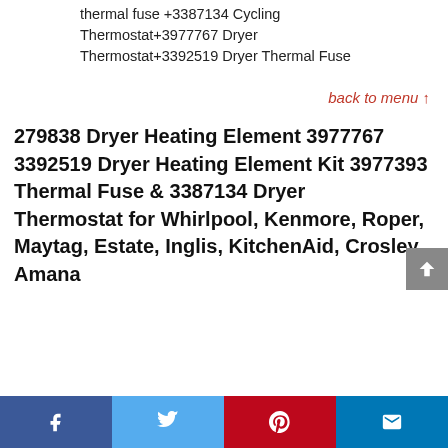MODEL NUMBER: WP 3977393/3977393 thermal fuse +3387134 Cycling Thermostat+3977767 Dryer Thermostat+3392519 Dryer Thermal Fuse
back to menu ↑
279838 Dryer Heating Element 3977767 3392519 Dryer Heating Element Kit 3977393 Thermal Fuse & 3387134 Dryer Thermostat for Whirlpool, Kenmore, Roper, Maytag, Estate, Inglis, KitchenAid, Crosley, Amana
Facebook | Twitter | Pinterest | Mail